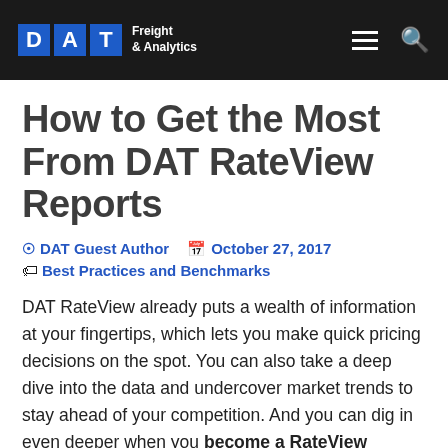DAT Freight & Analytics
How to Get the Most From DAT RateView Reports
DAT Guest Author  October 27, 2017  Best Practices and Benchmarks
DAT RateView already puts a wealth of information at your fingertips, which lets you make quick pricing decisions on the spot. You can also take a deep dive into the data and undercover market trends to stay ahead of your competition. And you can dig in even deeper when you become a RateView contributor